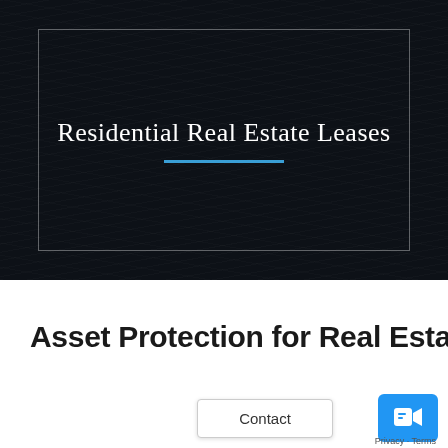[Figure (illustration): Dark textured hero banner with inner white border rectangle containing the title 'Residential Real Estate Leases' and a blue underline]
Residential Real Estate Leases
Asset Protection for Real Estate
Contact
Privacy · Terms